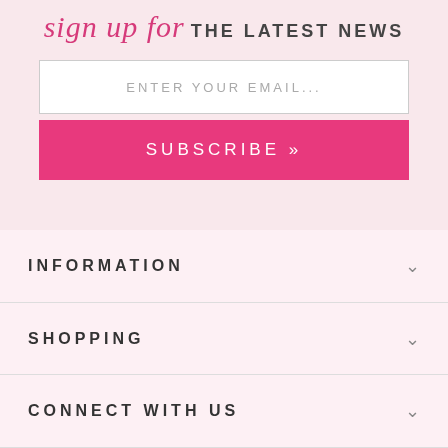sign up for THE LATEST NEWS
ENTER YOUR EMAIL...
SUBSCRIBE »
INFORMATION
SHOPPING
CONNECT WITH US